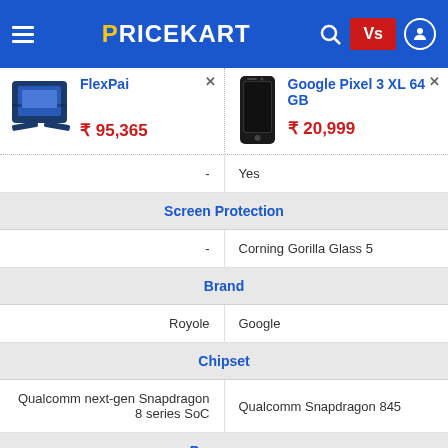PRICEKART
| FlexPai | Google Pixel 3 XL 64 GB |
| --- | --- |
| ₹95,365 | ₹20,999 |
| - | Yes |
| Screen Protection | Screen Protection |
| - | Corning Gorilla Glass 5 |
| Brand | Brand |
| Royole | Google |
| Chipset | Chipset |
| Qualcomm next-gen Snapdragon 8 series SoC | Qualcomm Snapdragon 845 |
| Processor | Processor |
| 2.8 GHz Octa-Core processor | 2.5 GHz Octa Core Processor |